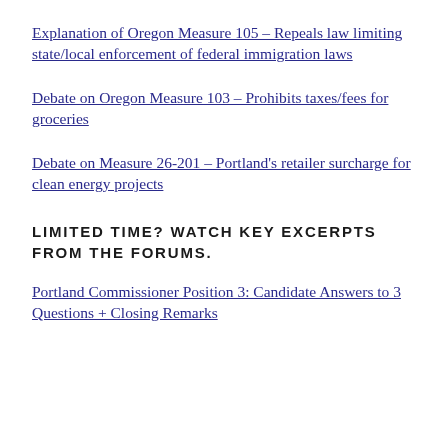Explanation of Oregon Measure 105 – Repeals law limiting state/local enforcement of federal immigration laws
Debate on Oregon Measure 103 – Prohibits taxes/fees for groceries
Debate on Measure 26-201 – Portland's retailer surcharge for clean energy projects
LIMITED TIME? WATCH KEY EXCERPTS FROM THE FORUMS.
Portland Commissioner Position 3: Candidate Answers to 3 Questions + Closing Remarks